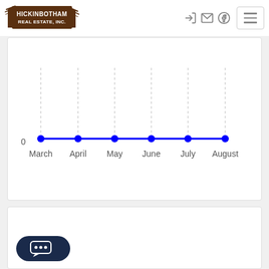[Figure (logo): Hickinbotham Real Estate, Inc. logo with brown rustic text and arrow design]
[Figure (line-chart): Line chart with months March through August all at 0]